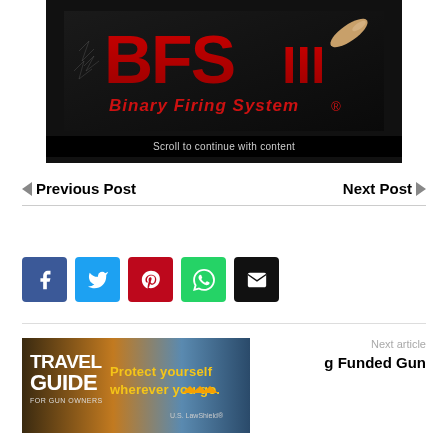[Figure (logo): BFS III Binary Firing System advertisement banner with bullet imagery on dark background. Red stylized 'BFS III' text logo with 'Binary Firing System®' in red italic text below. Text at bottom: 'Scroll to continue with content']
◄ Previous Post
Next Post ►
[Figure (infographic): Social media share buttons row: Facebook (blue), Twitter (light blue), Pinterest (red), WhatsApp (green), Email (black)]
[Figure (photo): Travel Guide For Gun Owners banner ad with 'Protect yourself wherever you go.' text and U.S. LawShield branding]
Next article
g Funded Gun